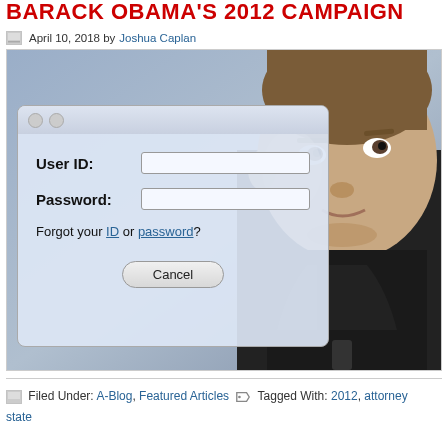BARACK OBAMA'S 2012 CAMPAIGN
April 10, 2018 by Joshua Caplan
[Figure (photo): Composite image showing a login dialog box with 'User ID:', 'Password:', 'Forgot your ID or password?' and a Cancel button, overlaid on a blue-gray background, alongside a photo of Mark Zuckerberg looking upward and to the right, wearing a dark jacket.]
Filed Under: A-Blog, Featured Articles   Tagged With: 2012, attorney state